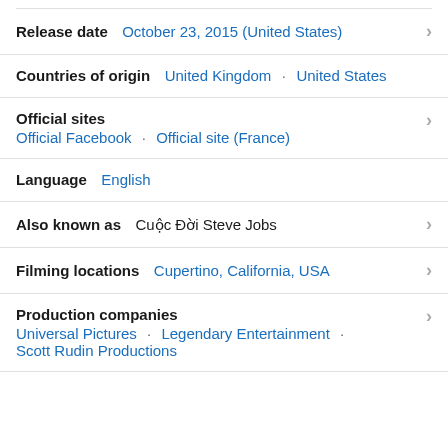Release date: October 23, 2015 (United States)
Countries of origin: United Kingdom · United States
Official sites: Official Facebook · Official site (France)
Language: English
Also known as: Cuộc Đời Steve Jobs
Filming locations: Cupertino, California, USA
Production companies: Universal Pictures · Legendary Entertainment · Scott Rudin Productions